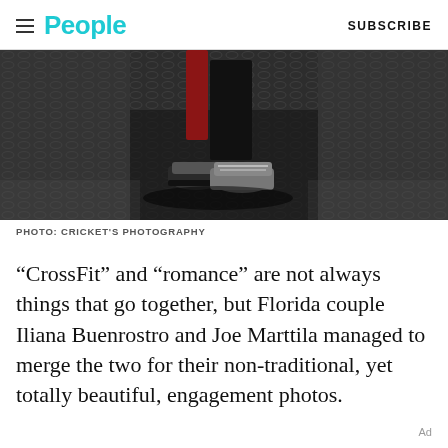People  SUBSCRIBE
[Figure (photo): Close-up photo of sneakers/athletic shoes standing on a rubber gym floor mat with diamond plate texture. One person appears to be wearing red pants and black athletic wear, viewed from below/feet level.]
PHOTO: CRICKET'S PHOTOGRAPHY
“CrossFit” and “Romance” are not always things that go together, but Florida couple Iliana Buenrostro and Joe Marttila managed to merge the two for their non-traditional, yet totally beautiful, engagement photos.